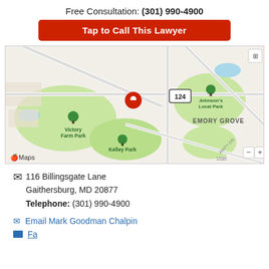Free Consultation: (301) 990-4900
Tap to Call This Lawyer
[Figure (map): Apple Maps showing the location near Victory Farm Park, Kelley Park, Johnson's Local Park, and Emory Grove area. A red location pin marks the office at 116 Billingsgate Lane, Gaithersburg, MD. Route 124 is visible.]
116 Billingsgate Lane
Gaithersburg, MD 20877
Telephone: (301) 990-4900
Email Mark Goodman Chalpin
Facebook page